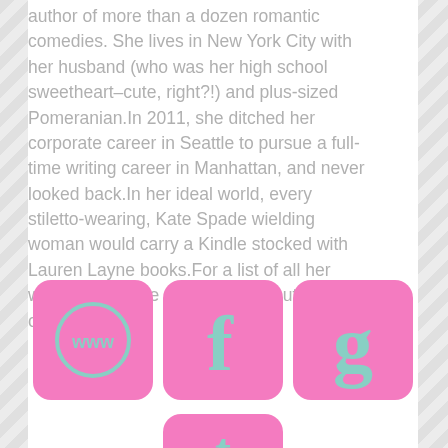author of more than a dozen romantic comedies. She lives in New York City with her husband (who was her high school sweetheart–cute, right?!) and plus-sized Pomeranian.In 2011, she ditched her corporate career in Seattle to pursue a full-time writing career in Manhattan, and never looked back.In her ideal world, every stiletto-wearing, Kate Spade wielding woman would carry a Kindle stocked with Lauren Layne books.For a list of all her works, please be sure to check out her official website!
[Figure (infographic): Three pink rounded square social media icons: WWW (website), Facebook f, Goodreads g. Below, a partial fourth pink icon (Tumblr t) is visible at the bottom.]